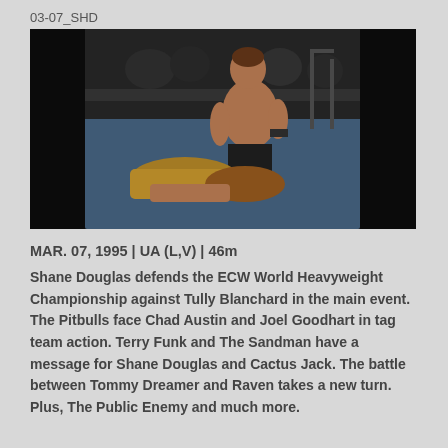03-07_SHD
[Figure (photo): A wrestling scene showing a shirtless male wrestler kneeling over another wrestler on the floor, with a crowd and equipment visible in the background. Dark/blurred action shot.]
MAR. 07, 1995 | UA (L,V) | 46m
Shane Douglas defends the ECW World Heavyweight Championship against Tully Blanchard in the main event. The Pitbulls face Chad Austin and Joel Goodhart in tag team action. Terry Funk and The Sandman have a message for Shane Douglas and Cactus Jack. The battle between Tommy Dreamer and Raven takes a new turn. Plus, The Public Enemy and much more.